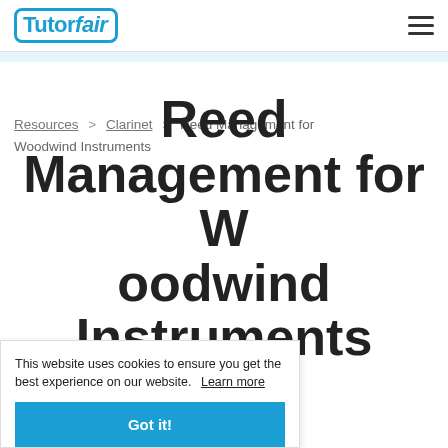TutorFair
Resources > Clarinet > Reed Management for Woodwind Instruments
Reed Management for Woodwind Instruments
ard B
This website uses cookies to ensure you get the best experience on our website. Learn more
Got it!